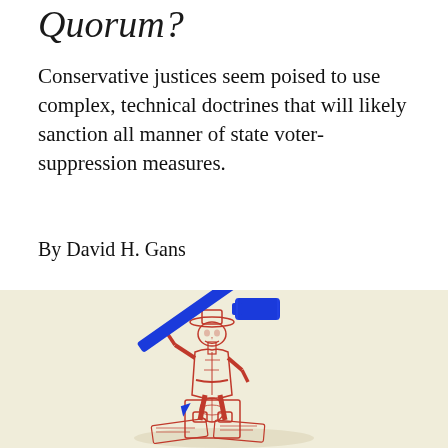Quorum?
Conservative justices seem poised to use complex, technical doctrines that will likely sanction all manner of state voter-suppression measures.
By David H. Gans
[Figure (illustration): Red ink illustration of a skeleton figure wearing a wide-brimmed hat and colonial-era clothing, sitting on a box and holding a large blue gavel/pen over its shoulder, with papers scattered at its feet. Background is a warm cream/beige color.]